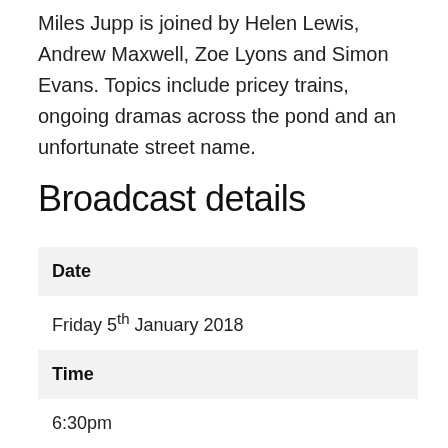Miles Jupp is joined by Helen Lewis, Andrew Maxwell, Zoe Lyons and Simon Evans. Topics include pricey trains, ongoing dramas across the pond and an unfortunate street name.
Broadcast details
| Date |  |
|  | Friday 5th January 2018 |
| Time |  |
|  | 6:30pm |
| Channel |  |
|  | BBC Radio 4 |